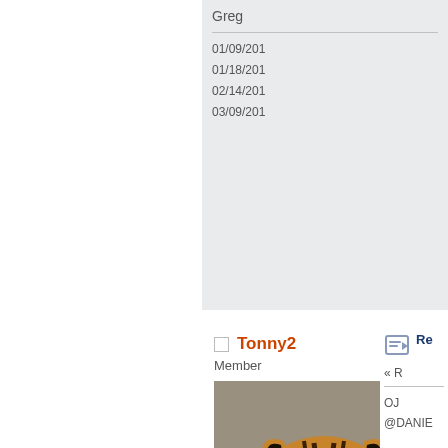Greg
01/09/201
01/18/201
02/14/201
03/09/201
Re
« R
Tonny2
Member
[Figure (photo): Close-up photo of a tiger cub face looking directly at camera, with shutterstock watermark]
Posts: 2,584
Re
« R
OJ
@DANIE
@GREG
Tonny2
Member
[Figure (photo): Close-up photo of a tiger cub face, same as above]
Re
« R
hel
dihidrate